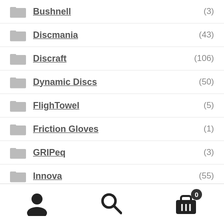Bushnell (3)
Discmania (43)
Discraft (106)
Dynamic Discs (50)
FlighTowel (5)
Friction Gloves (1)
GRIPeq (3)
Innova (55)
Simon Lizotte Full Tilt - Wednesday, August 24th, 9:00 AM!
Dismiss
User | Search | Cart (0)